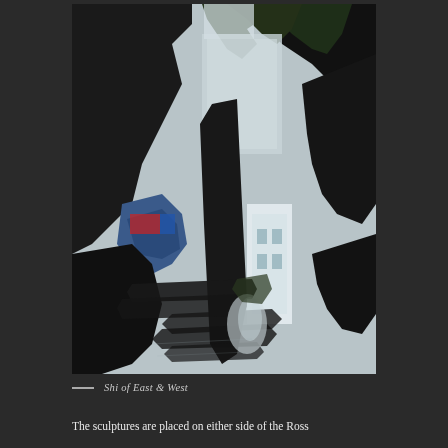[Figure (photo): Abstract reflective photograph showing distorted reflections on a metallic or glass surface. The image shows fragmented reflections of trees, sky, and urban structures with dark and light contrasting areas creating an abstract sculptural appearance.]
Shi of East & West
The sculptures are placed on either side of the Ross